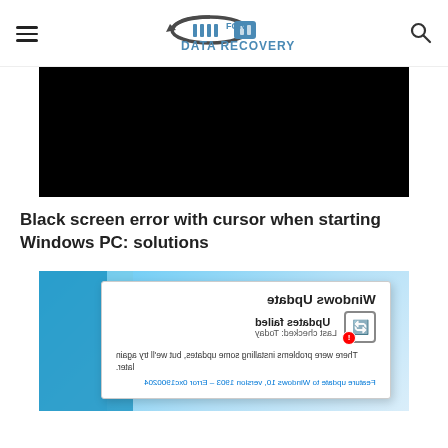For Data Recovery (logo/header navigation)
[Figure (screenshot): Black screen with no content, representing a black screen error on Windows PC]
Black screen error with cursor when starting Windows PC: solutions
[Figure (screenshot): Windows Update dialog shown mirrored/upside down with 'Updates failed, Last checked: Today' message and 'Feature update to Windows 10, version 1903 - Error 0xc1900204' text on a blue background]